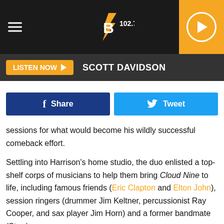[Figure (logo): B 102.7 radio station logo in header bar with hamburger menu icon on left and orange play button on right]
LISTEN NOW ▶  SCOTT DAVIDSON
f Share   🐦 Tweet
sessions for what would become his wildly successful comeback effort.
Settling into Harrison's home studio, the duo enlisted a top-shelf corps of musicians to help them bring Cloud Nine to life, including famous friends (Eric Clapton and Elton John), session ringers (drummer Jim Keltner, percussionist Ray Cooper, and sax player Jim Horn) and a former bandmate (Starr).
The end result was an 11-song set of some of the loosest, most energetic music Harrison had turned out in years,